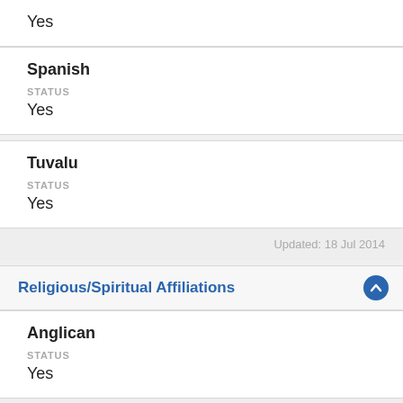Yes
Spanish
STATUS
Yes
Tuvalu
STATUS
Yes
Updated: 18 Jul 2014
Religious/Spiritual Affiliations
Anglican
STATUS
Yes
Updated: 18 Jul 2014